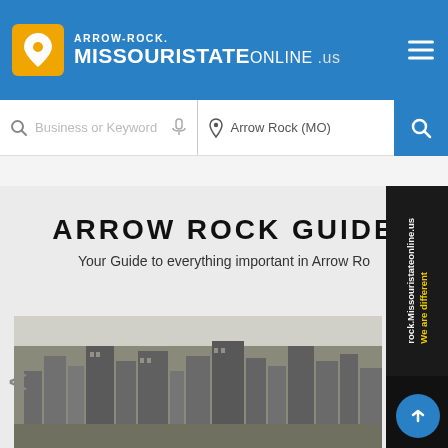ARROW-ROCK. MISSOURISTATEONLINE .us
Business or Keyword   Arrow Rock (MO)
ARROW ROCK GUIDE
Your Guide to everything important in Arrow Ro...
[Figure (photo): Aerial cityscape photo of Arrow Rock / city skyline with buildings under overcast sky]
We are different rock.Missouristateonline.us